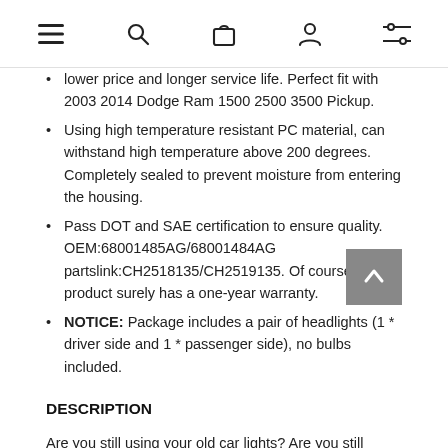Navigation bar with menu, search, cart, account, and filter icons
lower price and longer service life. Perfect fit with 2003 2014 Dodge Ram 1500 2500 3500 Pickup.
Using high temperature resistant PC material, can withstand high temperature above 200 degrees. Completely sealed to prevent moisture from entering the housing.
Pass DOT and SAE certification to ensure quality. OEM:68001485AG/68001484AG partslink:CH2518135/CH2519135. Of course our product surely has a one-year warranty.
NOTICE: Package includes a pair of headlights (1 * driver side and 1 * passenger side), no bulbs included.
DESCRIPTION
Are you still using your old car lights? Are you still worrying about not seeing the road because the lights are not bright enough? For your safety, come and change a pair of brand new car